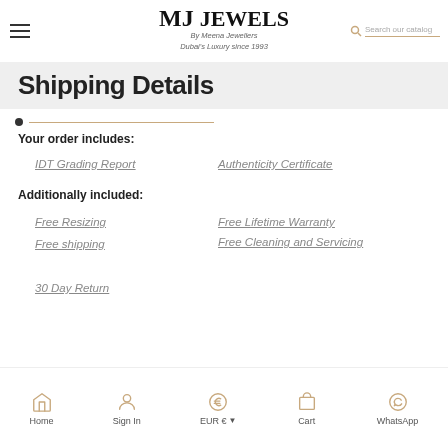MJ Jewels — By Meena Jewellers — Dubai's Luxury since 1993
Shipping Details
Your order includes:
IDT Grading Report
Authenticity Certificate
Additionally included:
Free Resizing
Free Lifetime Warranty
Free shipping
Free Cleaning and Servicing
30 Day Return
Home  Sign In  EUR €  Cart  WhatsApp